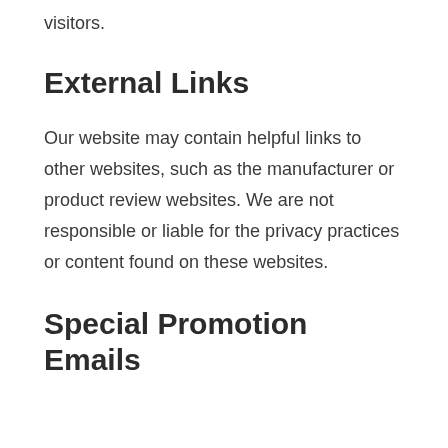visitors.
External Links
Our website may contain helpful links to other websites, such as the manufacturer or product review websites. We are not responsible or liable for the privacy practices or content found on these websites.
Special Promotion Emails